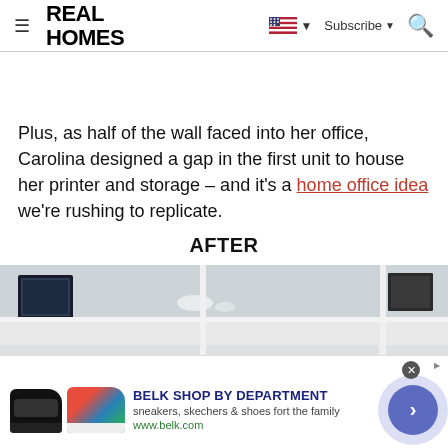REAL HOMES
Plus, as half of the wall faced into her office, Carolina designed a gap in the first unit to house her printer and storage – and it's a home office idea we're rushing to replicate.
AFTER
[Figure (photo): Interior photo showing white built-in shelving units with items on shelves, partially cropped]
[Figure (screenshot): Advertisement banner for Belk Shop By Department featuring sneakers and shoes, with a navigation arrow button]